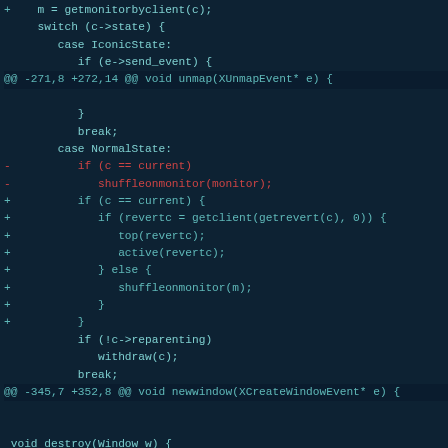[Figure (screenshot): Code diff screenshot showing changes to a C/C++ source file with added and removed lines highlighted in different colors on a dark teal background. The diff shows modifications to switch/case logic and a destroy function.]